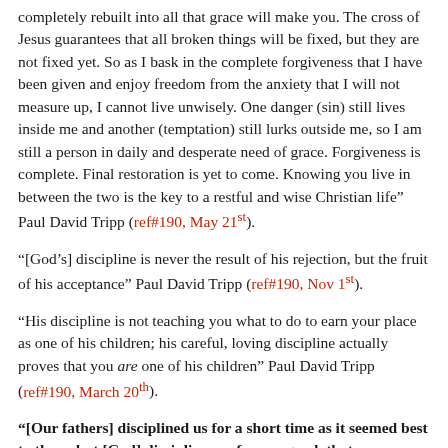completely rebuilt into all that grace will make you. The cross of Jesus guarantees that all broken things will be fixed, but they are not fixed yet. So as I bask in the complete forgiveness that I have been given and enjoy freedom from the anxiety that I will not measure up, I cannot live unwisely. One danger (sin) still lives inside me and another (temptation) still lurks outside me, so I am still a person in daily and desperate need of grace. Forgiveness is complete. Final restoration is yet to come. Knowing you live in between the two is the key to a restful and wise Christian life” Paul David Tripp (ref#190, May 21st).
“[God’s] discipline is never the result of his rejection, but the fruit of his acceptance” Paul David Tripp (ref#190, Nov 1st).
“His discipline is not teaching you what to do to earn your place as one of his children; his careful, loving discipline actually proves that you are one of his children” Paul David Tripp (ref#190, March 20th).
“[Our fathers] disciplined us for a short time as it seemed best to them, but [God] disciplines us for our good, that